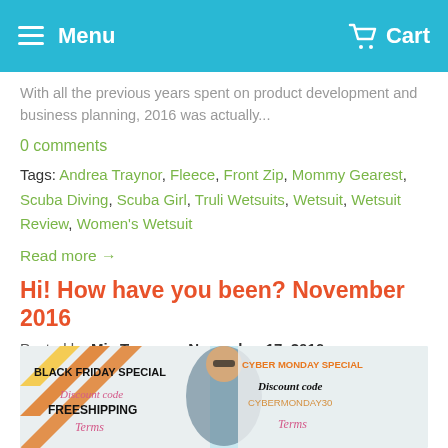Menu   Cart
With all the previous years spent on product development and business planning, 2016 was actually...
0 comments
Tags: Andrea Traynor, Fleece, Front Zip, Mommy Gearest, Scuba Diving, Scuba Girl, Truli Wetsuits, Wetsuit, Wetsuit Review, Women's Wetsuit
Read more →
Hi! How have you been? November 2016
Posted by Mia Toose on November 17, 2016
[Figure (infographic): Promotional banner showing Black Friday Special with discount code FREESHIPPING and Cyber Monday Special with discount code CYBERMONDAY30, featuring a woman in a wetsuit]